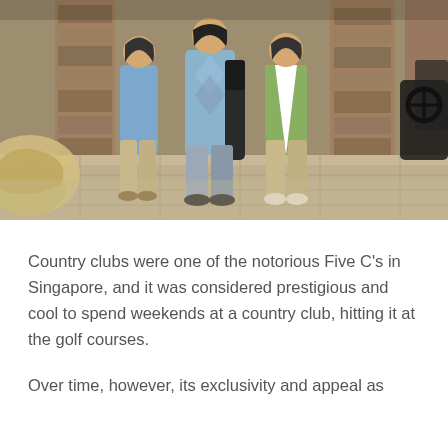[Figure (photo): Three people walking outdoors near a country club or golf club entrance. A woman in a blue sweater on the left, a man carrying golf bags in the center, and a woman in a green vest on the right. A golf cart is visible in the foreground. Stone columns in the background.]
Country clubs were one of the notorious Five C's in Singapore, and it was considered prestigious and cool to spend weekends at a country club, hitting it at the golf courses.
Over time, however, its exclusivity and appeal as